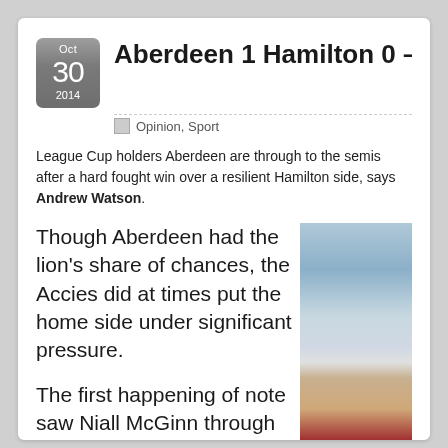Aberdeen 1 Hamilton 0 – Pittodrie
Opinion, Sport
League Cup holders Aberdeen are through to the semis after a hard fought win over a resilient Hamilton side, says Andrew Watson.
Though Aberdeen had the lion's share of chances, the Accies did at times put the home side under significant pressure.
[Figure (photo): Exterior photo of Pittodrie stadium showing stands, cranes, and surrounding area]
The first happening of note saw Niall McGinn through on goal via an Adam Rooney ball, only to be thwarted by the keeper who was excellent throughout.